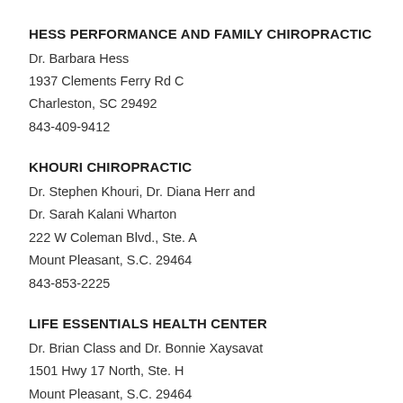HESS PERFORMANCE AND FAMILY CHIROPRACTIC
Dr. Barbara Hess
1937 Clements Ferry Rd C
Charleston, SC 29492
843-409-9412
KHOURI CHIROPRACTIC
Dr. Stephen Khouri, Dr. Diana Herr and Dr. Sarah Kalani Wharton
222 W Coleman Blvd., Ste. A
Mount Pleasant, S.C. 29464
843-853-2225
LIFE ESSENTIALS HEALTH CENTER
Dr. Brian Class and Dr. Bonnie Xaysavat
1501 Hwy 17 North, Ste. H
Mount Pleasant, S.C. 29464